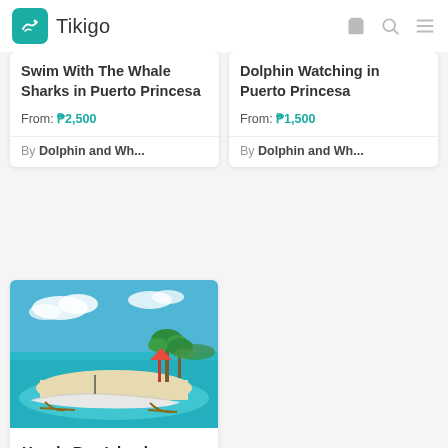Tikigo
Swim With The Whale Sharks in Puerto Princesa
From: ₱2,500
By Dolphin and Wh...
Dolphin Watching in Puerto Princesa
From: ₱1,500
By Dolphin and Wh...
[Figure (photo): Tropical beach scene with turquoise water, white sand beach, palm trees, and a traditional Filipino outrigger boat (bangka)]
Honda Bay Island Hopping